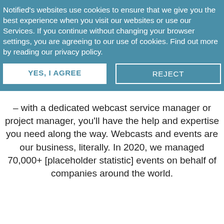Notified's websites use cookies to ensure that we give you the best experience when you visit our websites or use our Services. If you continue without changing your browser settings, you are agreeing to our use of cookies. Find out more by reading our privacy policy.
YES, I AGREE | REJECT
– with a dedicated webcast service manager or project manager, you'll have the help and expertise you need along the way. Webcasts and events are our business, literally. In 2020, we managed 70,000+ [placeholder statistic] events on behalf of companies around the world.